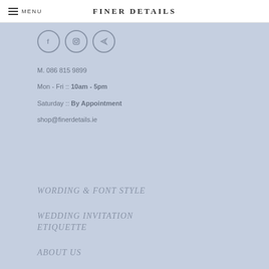MENU | FINER DETAILS
[Figure (illustration): Three circular social media icons: Facebook (F), Instagram (camera), and a send/arrow icon]
M. 086 815 9899
Mon - Fri :: 10am - 5pm
Saturday :: By Appointment
shop@finerdetails.ie
WORDING & FONT STYLE
WEDDING INVITATION ETIQUETTE
ABOUT US